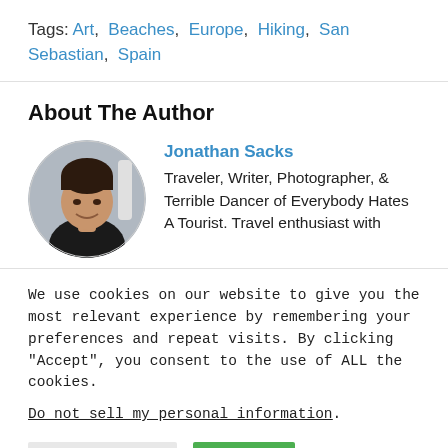Tags: Art, Beaches, Europe, Hiking, San Sebastian, Spain
About The Author
Jonathan Sacks — Traveler, Writer, Photographer, & Terrible Dancer of Everybody Hates A Tourist. Travel enthusiast with
[Figure (photo): Circular portrait photo of Jonathan Sacks, a young man in dark clothing, smiling]
We use cookies on our website to give you the most relevant experience by remembering your preferences and repeat visits. By clicking "Accept", you consent to the use of ALL the cookies.
Do not sell my personal information.